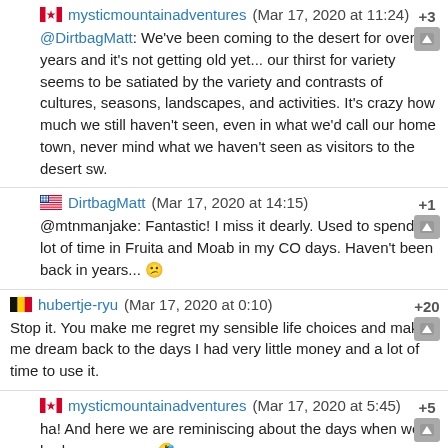mysticmountainadventures (Mar 17, 2020 at 11:24) +3
@DirtbagMatt: We've been coming to the desert for over 20 years and it's not getting old yet... our thirst for variety seems to be satiated by the variety and contrasts of cultures, seasons, landscapes, and activities. It's crazy how much we still haven't seen, even in what we'd call our home town, never mind what we haven't seen as visitors to the desert sw.
DirtbagMatt (Mar 17, 2020 at 14:15) +1
@mtnmanjake: Fantastic! I miss it dearly. Used to spend a lot of time in Fruita and Moab in my CO days. Haven't been back in years...
hubertje-ryu (Mar 17, 2020 at 0:10) +20
Stop it. You make me regret my sensible life choices and make me dream back to the days I had very little money and a lot of time to use it.
mysticmountainadventures (Mar 17, 2020 at 5:45) +5
ha! And here we are reminiscing about the days when we had more money
gblambda (Mar 17, 2020 at 1:25) +18